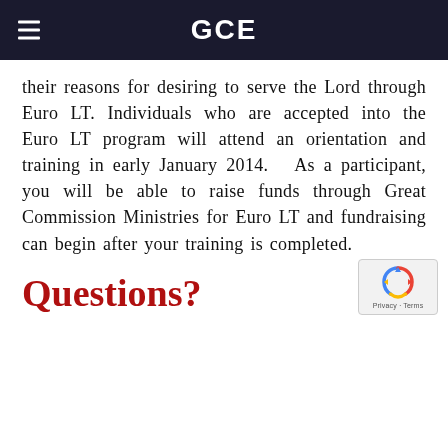GCE
their reasons for desiring to serve the Lord through Euro LT. Individuals who are accepted into the Euro LT program will attend an orientation and training in early January 2014.  As a participant, you will be able to raise funds through Great Commission Ministries for Euro LT and fundraising can begin after your training is completed.
Questions?